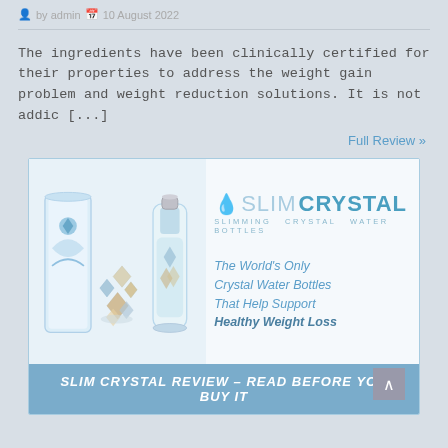by admin  10 August 2022
The ingredients have been clinically certified for their properties to address the weight gain problem and weight reduction solutions. It is not addic [...]
Full Review »
[Figure (illustration): SlimCrystal advertisement banner showing crystal water bottles with the tagline 'The World's Only Crystal Water Bottles That Help Support Healthy Weight Loss' and a footer banner 'SLIM CRYSTAL REVIEW - READ BEFORE YOU BUY IT']